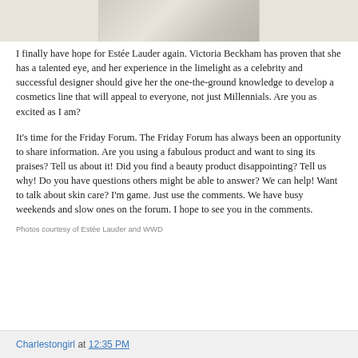[Figure (photo): Partial cropped image of Estée Lauder cosmetics product, appears to show a makeup brush or product with gold accents on a light background]
I finally have hope for Estée Lauder again. Victoria Beckham has proven that she has a talented eye, and her experience in the limelight as a celebrity and successful designer should give her the one-the-ground knowledge to develop a cosmetics line that will appeal to everyone, not just Millennials. Are you as excited as I am?
It's time for the Friday Forum. The Friday Forum has always been an opportunity to share information. Are you using a fabulous product and want to sing its praises? Tell us about it! Did you find a beauty product disappointing? Tell us why! Do you have questions others might be able to answer? We can help! Want to talk about skin care? I'm game. Just use the comments. We have busy weekends and slow ones on the forum. I hope to see you in the comments.
Photos courtesy of Estée Lauder and WWD
Charlestongirl at 12:35 PM